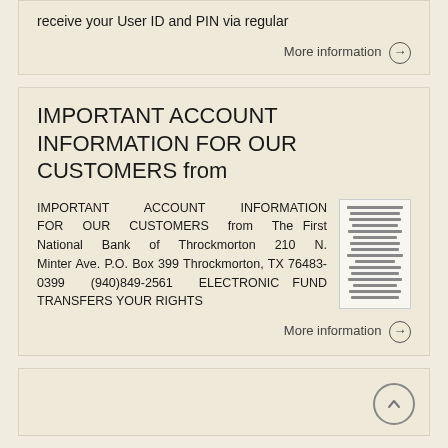receive your User ID and PIN via regular
More information →
IMPORTANT ACCOUNT INFORMATION FOR OUR CUSTOMERS from
IMPORTANT ACCOUNT INFORMATION FOR OUR CUSTOMERS from The First National Bank of Throckmorton 210 N. Minter Ave. P.O. Box 399 Throckmorton, TX 76483-0399 (940)849-2561 ELECTRONIC FUND TRANSFERS YOUR RIGHTS
More information →